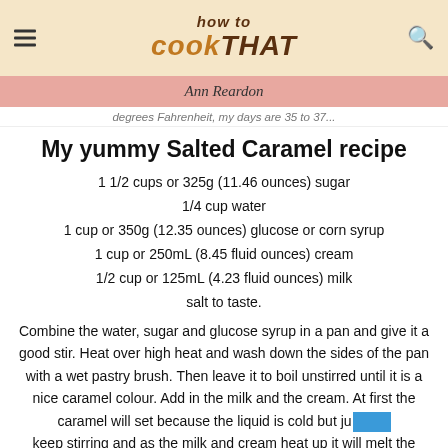how to COOKTHAT
Ann Reardon
degrees Fahrenheit, my days are 35 to 37...
My yummy Salted Caramel recipe
1 1/2 cups or 325g (11.46 ounces) sugar
1/4 cup water
1 cup or 350g (12.35 ounces) glucose or corn syrup
1 cup or 250mL (8.45 fluid ounces) cream
1/2 cup or 125mL (4.23 fluid ounces) milk
salt to taste.
Combine the water, sugar and glucose syrup in a pan and give it a good stir. Heat over high heat and wash down the sides of the pan with a wet pastry brush. Then leave it to boil unstirred until it is a nice caramel colour. Add in the milk and the cream. At first the caramel will set because the liquid is cold but just keep stirring and as the milk and cream heat up it will melt the